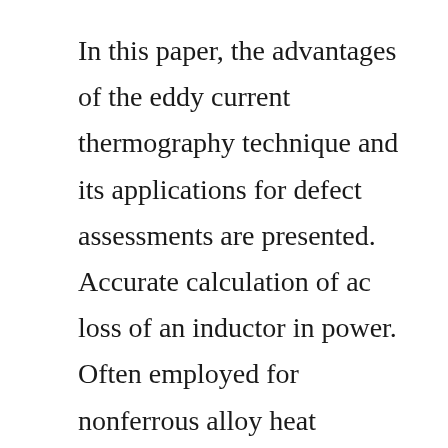In this paper, the advantages of the eddy current thermography technique and its applications for defect assessments are presented. Accurate calculation of ac loss of an inductor in power. Often employed for nonferrous alloy heat exchanger tubing used in power generation, chemical processing and other applications, eddycurrent testing also is used by fabricators and endusers to establish baseline data. Nasa preferred reliability practices, penetrant testing of aerospace materials, practice no.